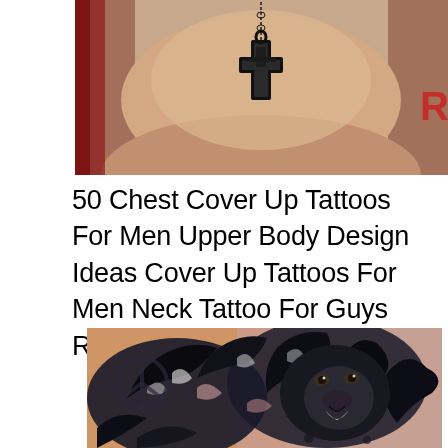[Figure (photo): Photo of a person's chest with a black cross/crucifix pendant necklace hanging in the center against bare skin]
50 Chest Cover Up Tattoos For Men Upper Body Design Ideas Cover Up Tattoos For Men Neck Tattoo For Guys Ripped Skin Tattoo
[Figure (photo): Close-up photo of a detailed chest tattoo featuring a roaring lion with an elaborate mane, rendered in dark black and grey realism style with ripped skin effect elements]